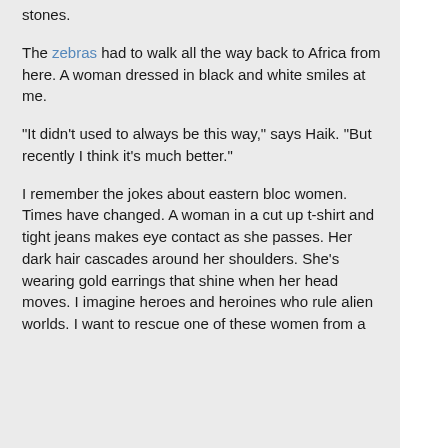stones.
The zebras had to walk all the way back to Africa from here. A woman dressed in black and white smiles at me.
"It didn't used to always be this way," says Haik. "But recently I think it's much better."
I remember the jokes about eastern bloc women. Times have changed. A woman in a cut up t-shirt and tight jeans makes eye contact as she passes. Her dark hair cascades around her shoulders. She's wearing gold earrings that shine when her head moves. I imagine heroes and heroines who rule alien worlds. I want to rescue one of these women from a